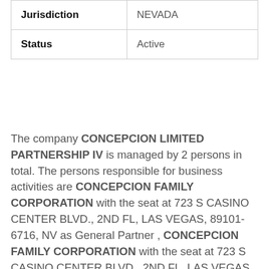| Jurisdiction | NEVADA |
| Status | Active |
The company CONCEPCION LIMITED PARTNERSHIP IV is managed by 2 persons in total. The persons responsible for business activities are CONCEPCION FAMILY CORPORATION with the seat at 723 S CASINO CENTER BLVD., 2ND FL, LAS VEGAS, 89101-6716, NV as General Partner , CONCEPCION FAMILY CORPORATION with the seat at 723 S CASINO CENTER BLVD., 2ND FL, LAS VEGAS, 89101-6716, NV as General Partner .